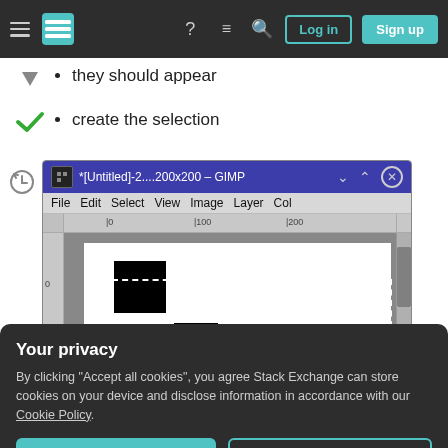Stack Exchange navigation bar with Log in and Sign up buttons
they should appear
create the selection
[Figure (screenshot): GIMP window titled *[Untitled]-2....200x200 – GIMP showing a canvas with two black rectangles and a dashed selection rectangle]
Your privacy
By clicking "Accept all cookies", you agree Stack Exchange can store cookies on your device and disclose information in accordance with our Cookie Policy.
Accept all cookies   Customize settings